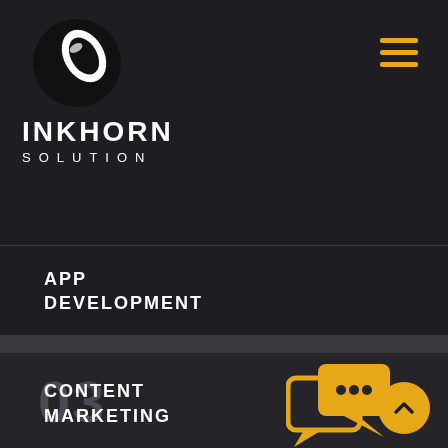[Figure (logo): Inkhorn Solution logo: black circle with white feather/quill shape inside]
INKHORN
SOLUTION
[Figure (other): Hamburger menu icon with three horizontal orange lines]
APP
DEVELOPMENT
03
[Figure (illustration): Orange chat/messaging icon showing two speech bubbles with three dots]
CONTENT
MARKETING
[Figure (other): Orange circular scroll-to-top button with upward chevron]